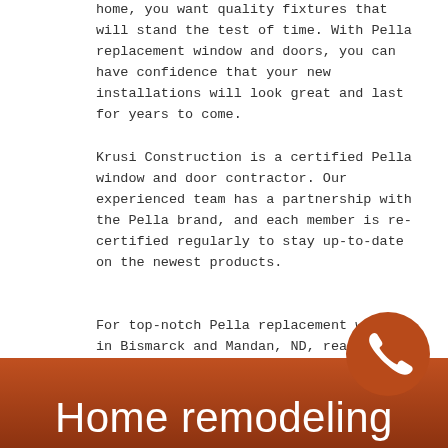home, you want quality fixtures that will stand the test of time. With Pella replacement window and doors, you can have confidence that your new installations will look great and last for years to come.
Krusi Construction is a certified Pella window and door contractor. Our experienced team has a partnership with the Pella brand, and each member is re-certified regularly to stay up-to-date on the newest products.
For top-notch Pella replacement windows in Bismarck and Mandan, ND, reach out today at 701-426-3035. We'll even visit you and provide a free estimate on the spot!
[Figure (logo): Pella Certified Contractor badge — dark metallic background with horizontal lines, yellow circle with Pella script logo on left, white bold text reading CERTIFIED CONTRACTOR on right, silver border frame]
Home remodeling